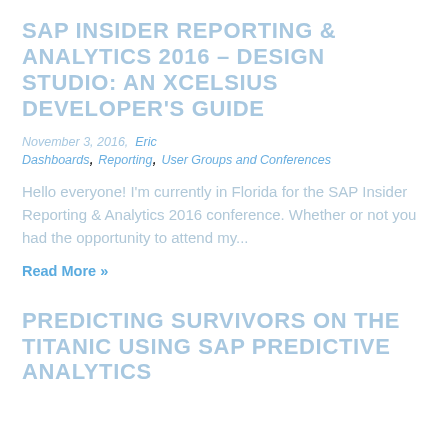SAP INSIDER REPORTING & ANALYTICS 2016 – DESIGN STUDIO: AN XCELSIUS DEVELOPER'S GUIDE
November 3, 2016,  Eric
Dashboards, Reporting, User Groups and Conferences
Hello everyone! I'm currently in Florida for the SAP Insider Reporting & Analytics 2016 conference. Whether or not you had the opportunity to attend my...
Read More »
PREDICTING SURVIVORS ON THE TITANIC USING SAP PREDICTIVE ANALYTICS